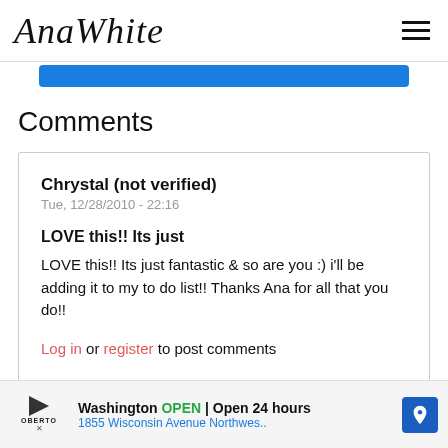AnaWhite
Comments
Chrystal (not verified)
Tue, 12/28/2010 - 22:16

LOVE this!! Its just

LOVE this!! Its just fantastic & so are you :) i'll be adding it to my to do list!! Thanks Ana for all that you do!!

Log in or register to post comments
Washington OPEN | Open 24 hours 1855 Wisconsin Avenue Northwes..